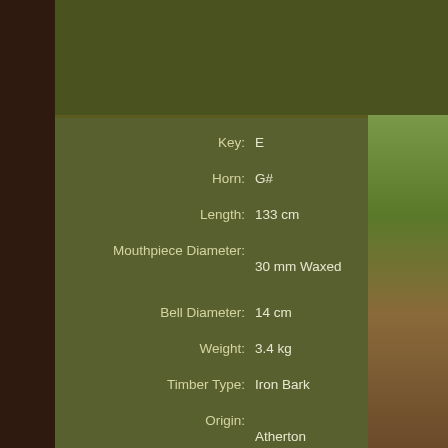| Field | Value |
| --- | --- |
| Key: | E |
| Horn: | G# |
| Length: | 133 cm |
| Mouthpiece Diameter: | 30 mm Waxed |
| Bell Diameter: | 14 cm |
| Weight: | 3.4 kg |
| Timber Type: | Iron Bark |
| Origin: | Atherton Tablelands
North Queensland |
| Description/Playing Ability: | Nice natural shape and colours to large bell.
Big, loud, resonant and great backpressure and |
[Figure (photo): Partial view of a didgeridoo on grass background, right side of page]